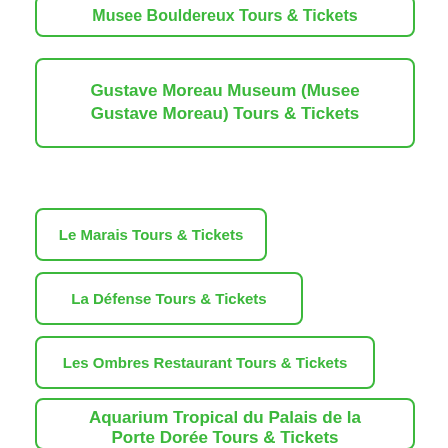Gustave Moreau Museum (Musee Gustave Moreau) Tours & Tickets
Le Marais Tours & Tickets
La Défense Tours & Tickets
Les Ombres Restaurant Tours & Tickets
Aquarium Tropical du Palais de la Porte Dorée Tours & Tickets
Chatou Tours & Tickets
Check Availability